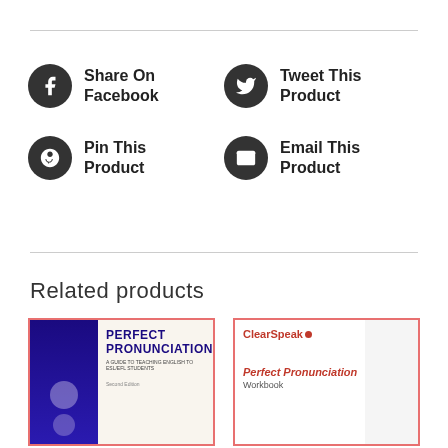Share On Facebook
Tweet This Product
Pin This Product
Email This Product
Related products
[Figure (illustration): Book cover for Perfect Pronunciation]
[Figure (illustration): Book cover for Perfect Pronunciation Workbook by ClearSpeak]